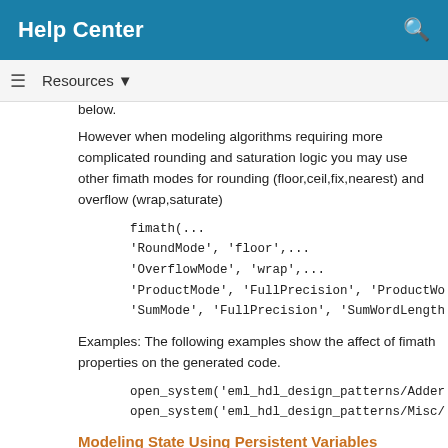Help Center
below.
However when modeling algorithms requiring more complicated rounding and saturation logic you may use other fimath modes for rounding (floor,ceil,fix,nearest) and overflow (wrap,saturate)
Examples: The following examples show the affect of fimath properties on the generated code.
Modeling State Using Persistent Variables
To model a complex control logic, the ability to model registers is